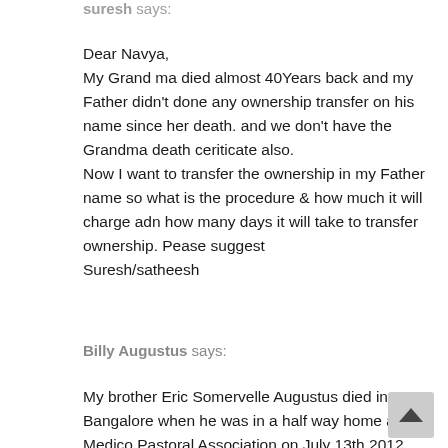suresh says:
Dear Navya,
My Grand ma died almost 40Years back and my Father didn't done any ownership transfer on his name since her death. and we don't have the Grandma death ceriticate also.
Now I want to transfer the ownership in my Father name so what is the procedure & how much it will charge adn how many days it will take to transfer ownership. Pease suggest
Suresh/satheesh
Billy Augustus says:
My brother Eric Somervelle Augustus died in Bangalore when he was in a half way home at Medico Pastoral Association on July 13th 2012.
Since I'm the only brother and I'm residing at US, I...